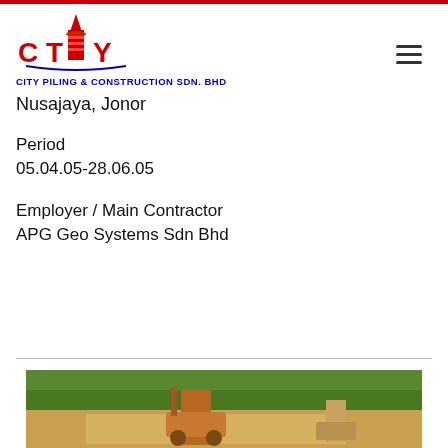[Figure (logo): City Piling & Construction Sdn. Bhd. logo with tower graphic in red and blue]
Nusajaya, Jonor
Period
05.04.05-28.06.05
Employer / Main Contractor
APG Geo Systems Sdn Bhd
[Figure (photo): Construction site photo showing machinery (piling equipment) on a dirt road with green vegetation in the background]